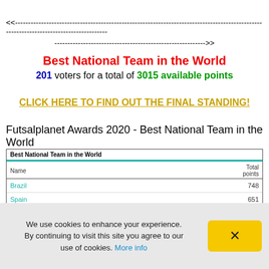<<------------------------------------------------------------------------------------------------------------------------->>
Best National Team in the World
201 voters for a total of 3015 available points
CLICK HERE TO FIND OUT THE FINAL STANDING!
Futsalplanet Awards 2020 - Best National Team in the World
| Best National Team in the World | Total points |
| --- | --- |
| Brazil | 748 |
| Spain | 651 |
| Argentina | 535 |
| Portugal | 390 |
We use cookies to enhance your experience. By continuing to visit this site you agree to our use of cookies. More info